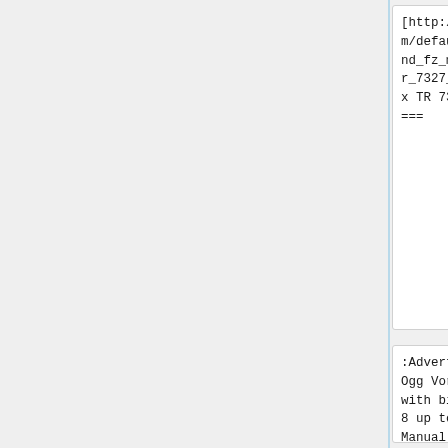| [http://www.vdodayton.com/default2_and_fz_menu=tr_7327_b.aspx TR 7327 B]
=== | [http://www.vdodayton.com/default2_and_fz_menu=tr_7327_b.aspx TR 7327 B]
=== |
| :Advertised to have Ogg Vorbis support with bitrates from 8 up to 192 kbit/s. Manual mentions Ogg Vorbis I information tags for Album / Artist / Track name | :Advertised to have Ogg Vorbis support with bitrates from 8 up to 192 kbit/s. Manual mentions Ogg Vorbis I information tags for Album / Artist / Track name |